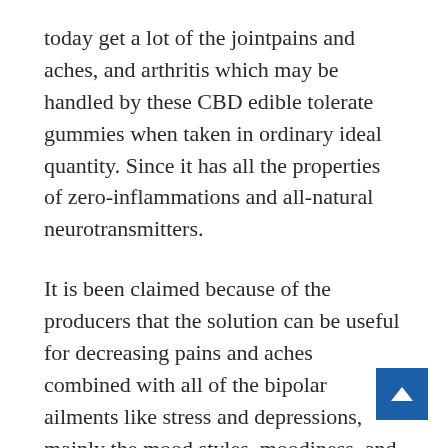today get a lot of the jointpains and aches, and arthritis which may be handled by these CBD edible tolerate gummies when taken in ordinary ideal quantity. Since it has all the properties of zero-inflammations and all-natural neurotransmitters.
It is been claimed because of the producers that the solution can be useful for decreasing pains and aches combined with all of the bipolar ailments like stress and depressions, mainly the mood styles, moodiness, and inflammations, helping in eradicating each of these kinds of health conditions. It may also help in more effective slumbering habits by dealing with sleeplessness with many different other many